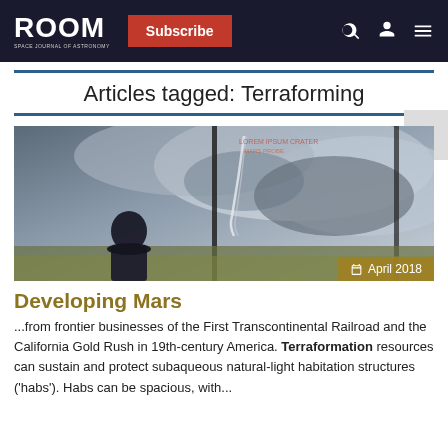ROOM — Subscribe
Articles tagged: Terraforming
[Figure (photo): A person in a dark suit viewed from behind, looking at a dramatic stormy sky scene through large windows, with a date badge showing April 2018]
April 2018
Developing Mars
...from frontier businesses of the First Transcontinental Railroad and the California Gold Rush in 19th-century America. Terraformation resources can sustain and protect subaqueous natural-light habitation structures ('habs'). Habs can be spacious, with...